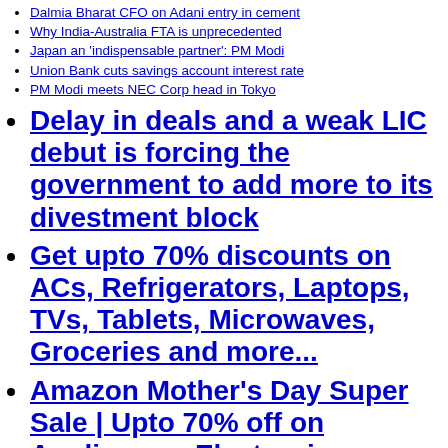Dalmia Bharat CFO on Adani entry in cement
Why India-Australia FTA is unprecedented
Japan an 'indispensable partner': PM Modi
Union Bank cuts savings account interest rate
PM Modi meets NEC Corp head in Tokyo
Delay in deals and a weak LIC debut is forcing the government to add more to its divestment block
Get upto 70% discounts on ACs, Refrigerators, Laptops, TVs, Tablets, Microwaves, Groceries and more...
Amazon Mother's Day Super Sale | Upto 70% off on Appliances, Electronics, Furniture, Fashion, Groceries & many more...
3 auto stocks to bet on now: Sandin Sabharwal